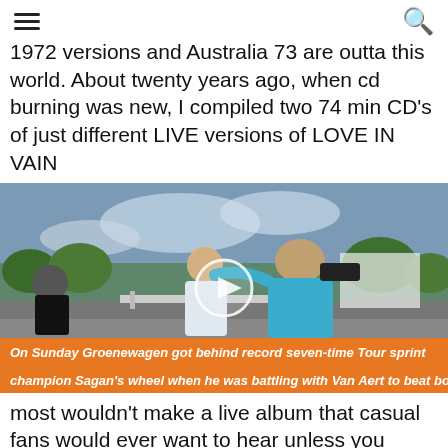1972 versions and Australia 73 are outta this world. About twenty years ago, when cd burning was new, I compiled two 74 min CD's of just different LIVE versions of LOVE IN VAIN
[Figure (photo): Video thumbnail showing two people embracing outdoors near a road barrier, with masked onlookers in background. Orange caption overlay reads: 'On Sunday Groenewagen got behind record seven-time Tour sprint champion Sagan's wheel when he was battling with Van Aert to beat both']
most wouldn't make a live album that casual fans would ever want to hear unless you overdubbed vocals as was done on Get Yer Ya-Yas Out. I think that Carol, Midnight Rambler & Love In Vain are probably the only three songs with Jagger's original concert vocals. They were from a